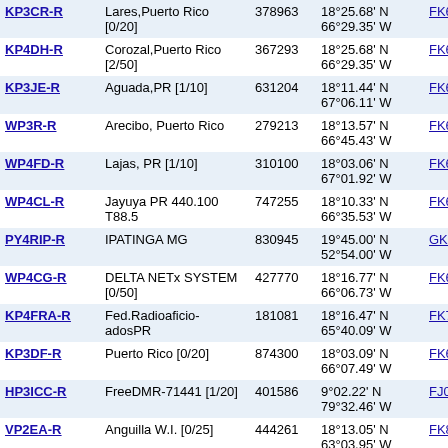| Callsign | Location | Node ID | Coordinates | Grid | Freq |
| --- | --- | --- | --- | --- | --- |
| KP3CR-R | Lares,Puerto Rico [0/20] | 378963 | 18°25.68' N 66°29.35' W | FK68sk | 10120.5 4 |
| KP4DH-R | Corozal,Puerto Rico [2/50] | 367293 | 18°25.68' N 66°29.35' W | FK68sk | 10120.5 1 |
| KP3JE-R | Aguada,PR [1/10] | 631204 | 18°11.44' N 67°06.11' W | FK68ke | 10122.5 |
| WP3R-R | Arecibo, Puerto Rico | 279213 | 18°13.57' N 66°45.43' W | FK68of | 10127.9 1 |
| WP4FD-R | Lajas, PR [1/10] | 310100 | 18°03.06' N 67°01.92' W | FK68lb | 10133.2 |
| WP4CL-R | Jayuya PR 440.100 T88.5 | 747255 | 18°10.33' N 66°35.53' W | FK68qe | 10135.0 4 |
| PY4RIP-R | IPATINGA MG | 830945 | 19°45.00' N 52°54.00' W | GK39ns | 10137.9 1 |
| WP4CG-R | DELTA NETx SYSTEM [0/50] | 427770 | 18°16.77' N 66°06.73' W | FK68wg | 10138.2 |
| KP4FRA-R | Fed.Radioaficionados PR | 181081 | 18°16.47' N 65°40.09' W | FK78dg | 10147.6 4 |
| KP3DF-R | Puerto Rico [0/20] | 874300 | 18°03.09' N 66°07.49' W | FK68wb | 10152.9 4 |
| HP3ICC-R | FreeDMR-71441 [1/20] | 401586 | 9°02.22' N 79°32.46' W | FJ09fa | 10191.6 |
| VP2EA-R | Anguilla W.I. [0/25] | 444261 | 18°13.05' N 63°03.95' W | FK88lf | 10196.9 1 |
| V44KR-R | St. Kitt's W.I. [0/15] | 182460 | 17°20.12' N 62°44.15' W | FK87pi | 10261.3 4 |